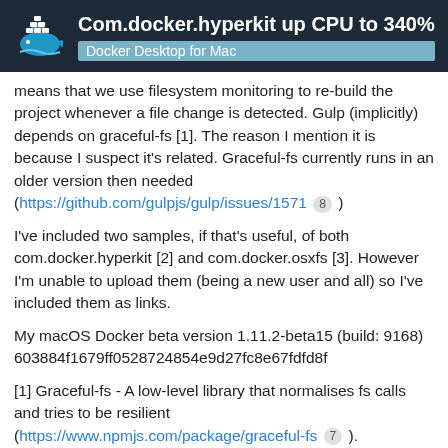Com.docker.hyperkit up CPU to 340% — Docker Desktop for Mac
means that we use filesystem monitoring to re-build the project whenever a file change is detected. Gulp (implicitly) depends on graceful-fs [1]. The reason I mention it is because I suspect it's related. Graceful-fs currently runs in an older version then needed (https://github.com/gulpjs/gulp/issues/1571  8 )
I've included two samples, if that's useful, of both com.docker.hyperkit [2] and com.docker.osxfs [3]. However I'm unable to upload them (being a new user and all) so I've included them as links.
My macOS Docker beta version 1.11.2-beta15 (build: 9168) 603884f1679ff0528724854e9d27fc8e67fdfd8f
[1] Graceful-fs - A low-level library that normalises fs calls and tries to be resilient (https://www.npmjs.com/package/graceful-fs  7 ).
[2] com.docker.hyperkit-sample.txt - http://pastebin.com/XhNvYmKh  36
[3] com.docker.osxfs-sample.txt -
18 / 79